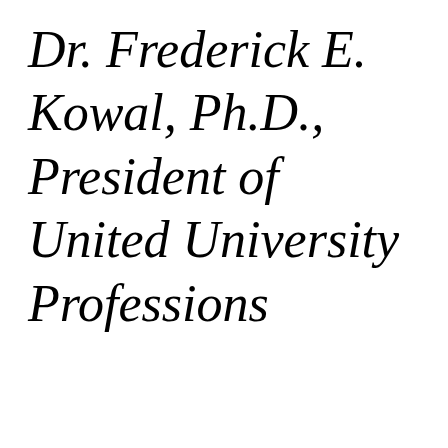Dr. Frederick E. Kowal, Ph.D., President of United University Professions